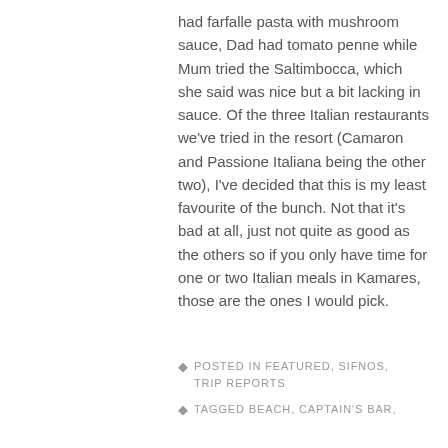had farfalle pasta with mushroom sauce, Dad had tomato penne while Mum tried the Saltimbocca, which she said was nice but a bit lacking in sauce. Of the three Italian restaurants we've tried in the resort (Camaron and Passione Italiana being the other two), I've decided that this is my least favourite of the bunch. Not that it's bad at all, just not quite as good as the others so if you only have time for one or two Italian meals in Kamares, those are the ones I would pick.
POSTED IN FEATURED, SIFNOS, TRIP REPORTS
TAGGED BEACH, CAPTAIN'S BAR,